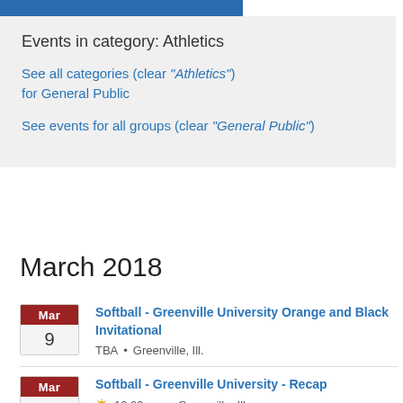Events in category: Athletics
See all categories (clear "Athletics") for General Public
See events for all groups (clear "General Public")
March 2018
Softball - Greenville University Orange and Black Invitational
TBA • Greenville, Ill.
Softball - Greenville University - Recap
10:00 am • Greenville, Ill.